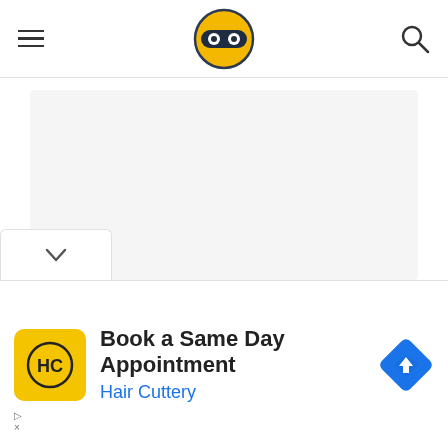[Figure (logo): Website header with hamburger menu icon on left, circular logo (yellow face with dark goggles/mask) in center, and search magnifying glass icon on right]
[Figure (screenshot): Light gray content card area showing article preview]
TouchVR: a haptic feedback device for touching in VR
[Figure (other): Chevron/down arrow tab at bottom of card]
[Figure (infographic): Advertisement banner: Hair Cuttery logo (HC in circle on yellow background), text 'Book a Same Day Appointment' and 'Hair Cuttery' in blue, blue diamond direction arrow icon on right]